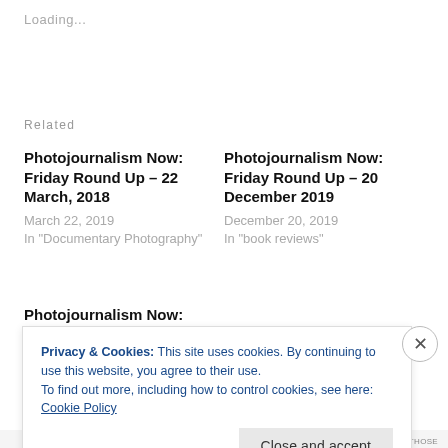Loading...
Related
Photojournalism Now: Friday Round Up – 22 March, 2018
March 22, 2019
In "Documentary Photography"
Photojournalism Now: Friday Round Up – 20 December 2019
December 20, 2019
In "book reviews"
Photojournalism Now:
Privacy & Cookies: This site uses cookies. By continuing to use this website, you agree to their use.
To find out more, including how to control cookies, see here: Cookie Policy

Close and accept